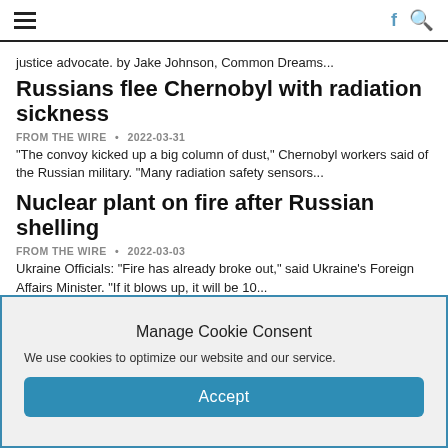☰  [navigation icons] f 🔍
justice advocate. by Jake Johnson, Common Dreams...
Russians flee Chernobyl with radiation sickness
FROM THE WIRE  •  2022-03-31
"The convoy kicked up a big column of dust," Chernobyl workers said of the Russian military. "Many radiation safety sensors...
Nuclear plant on fire after Russian shelling
FROM THE WIRE  •  2022-03-03
Ukraine Officials: "Fire has already broke out," said Ukraine's Foreign Affairs Minister. "If it blows up, it will be 10...
Nuclear disaster in Ukraine could make swaths of Europe 'uninhabitable for decades'
Manage Cookie Consent
We use cookies to optimize our website and our service.
Accept